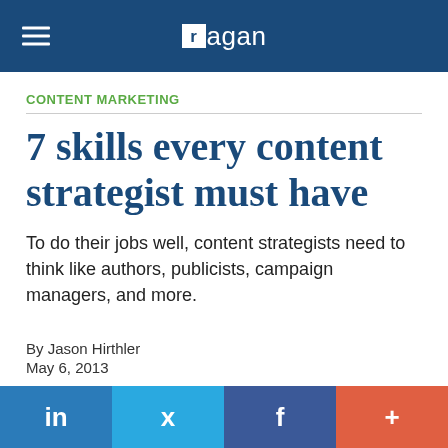ragan
CONTENT MARKETING
7 skills every content strategist must have
To do their jobs well, content strategists need to think like authors, publicists, campaign managers, and more.
By Jason Hirthler
May 6, 2013
in  f  +